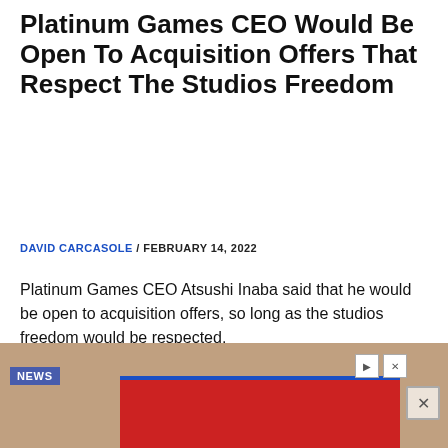Platinum Games CEO Would Be Open To Acquisition Offers That Respect The Studios Freedom
DAVID CARCASOLE / FEBRUARY 14, 2022
Platinum Games CEO Atsushi Inaba said that he would be open to acquisition offers, so long as the studios freedom would be respected.
Read more
[Figure (screenshot): Bottom portion showing a game/news image with a NEWS label and a red advertisement overlay with close button]